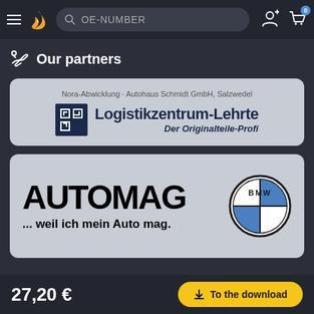OE-NUMBER search bar with navigation icons
Our partners
[Figure (logo): Logistikzentrum-Lehrte logo with text: Nora-Abwicklung · Autohaus Schmidt GmbH, Salzwedel / Logistikzentrum-Lehrte / Der Originalteile-Profi]
[Figure (logo): AUTOMAG logo with BMW roundel and tagline: ... weil ich mein Auto mag.]
27,20 € | To the download